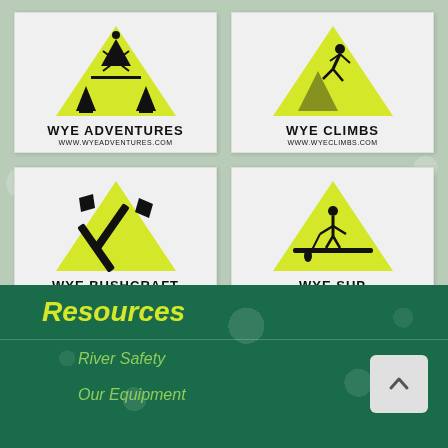[Figure (logo): Wye Adventures logo - yellow warning triangle with outdoor activity silhouette, text WYE ADVENTURES and www.wyeadventures.com]
[Figure (logo): Wye Climbs logo - yellow warning triangle with rock climber silhouette, text WYE CLIMBS and www.wyeclimbs.com]
[Figure (logo): Wye Bushcraft logo - yellow warning triangle with crossed axe and tools, text WYE BUSHCRAFT and www.wyebushcraft.com]
[Figure (logo): Wye SUP logo - yellow warning triangle with stand-up paddleboarder silhouette, text WYE SUP and www.wyesup.com]
Resources
River Safety
Our Equipment